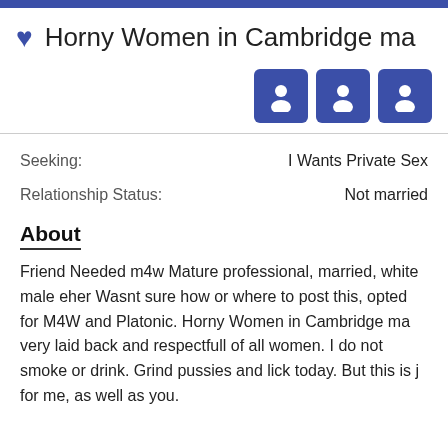Horny Women in Cambridge ma
[Figure (illustration): Three blue square profile icon buttons with white person silhouettes]
Seeking: I Wants Private Sex
Relationship Status: Not married
About
Friend Needed m4w Mature professional, married, white male eher Wasnt sure how or where to post this, opted for M4W and Platonic. Horny Women in Cambridge ma very laid back and respectfull of all women. I do not smoke or drink. Grind pussies and lick today. But this is j for me, as well as you.